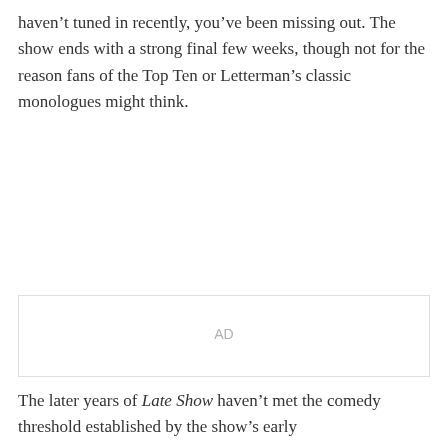haven't tuned in recently, you've been missing out. The show ends with a strong final few weeks, though not for the reason fans of the Top Ten or Letterman's classic monologues might think.
AD
The later years of Late Show haven't met the comedy threshold established by the show's early